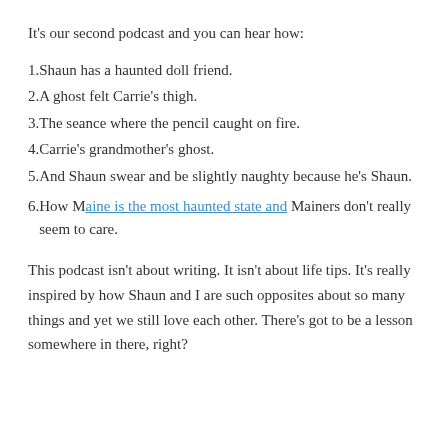It's our second podcast and you can hear how:
Shaun has a haunted doll friend.
A ghost felt Carrie's thigh.
The seance where the pencil caught on fire.
Carrie's grandmother's ghost.
And Shaun swear and be slightly naughty because he's Shaun.
How Maine is the most haunted state and Mainers don't really seem to care.
This podcast isn't about writing. It isn't about life tips. It's really inspired by how Shaun and I are such opposites about so many things and yet we still love each other. There's got to be a lesson somewhere in there, right?